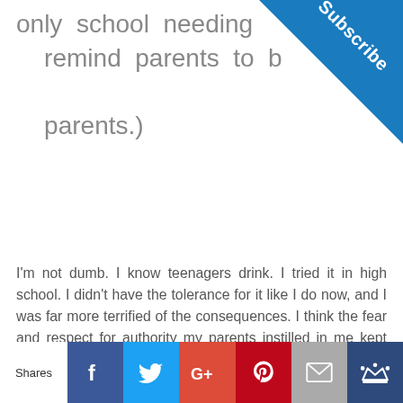only school needing remind parents to b parents.)
I'm not dumb. I know teenagers drink. I tried it in high school. I didn't have the tolerance for it like I do now, and I was far more terrified of the consequences. I think the fear and respect for authority my parents instilled in me kept me out of some fun but definitely out of more trouble than was worth that missed fun. I just don't think adults – PARENTS – should be turning a blind eye or allowing this to happen because it isn't better that your kids and their friends get smashed in your house. No. It's illegal.
[Figure (other): Subscribe corner badge/ribbon in blue]
Shares | Facebook | Twitter | G+ | Pinterest | Email | Crown